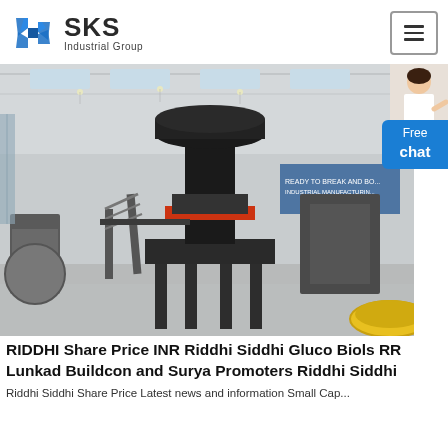[Figure (logo): SKS Industrial Group logo with blue angular S icon and bold SKS text with 'Industrial Group' subtitle]
[Figure (photo): Large industrial factory floor showing a heavy cone crusher or vertical mill machine on a metal platform with staircases, inside a spacious warehouse with skylights and other machinery visible]
RIDDHI Share Price INR Riddhi Siddhi Gluco Biols RR Lunkad Buildcon and Surya Promoters Riddhi Siddhi
Riddhi Siddhi Share Price Latest news and information Small Cap...